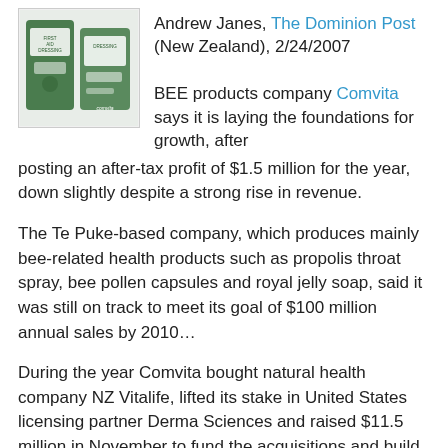[Figure (photo): Photo of Comvita bee product packaging (green and white bags/boxes with 'DRESSING' label)]
Andrew Janes, The Dominion Post (New Zealand), 2/24/2007
BEE products company Comvita says it is laying the foundations for growth, after posting an after-tax profit of $1.5 million for the year, down slightly despite a strong rise in revenue.
The Te Puke-based company, which produces mainly bee-related health products such as propolis throat spray, bee pollen capsules and royal jelly soap, said it was still on track to meet its goal of $100 million annual sales by 2010…
During the year Comvita bought natural health company NZ Vitalife, lifted its stake in United States licensing partner Derma Sciences and raised $11.5 million in November to fund the acquisitions and build up raw material supplies.
Comvita is looking at more acquisitions in 2007, chief executive Brett Hewlett said…
Approval by the US Federal Drug Administration of Comvita's